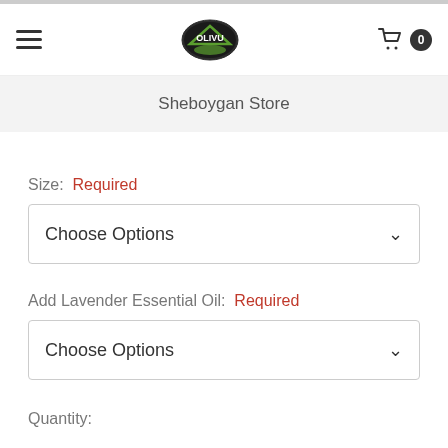OLIVU — Sheboygan Store
Sheboygan Store
Size:  Required
Choose Options
Add Lavender Essential Oil:  Required
Choose Options
Quantity: